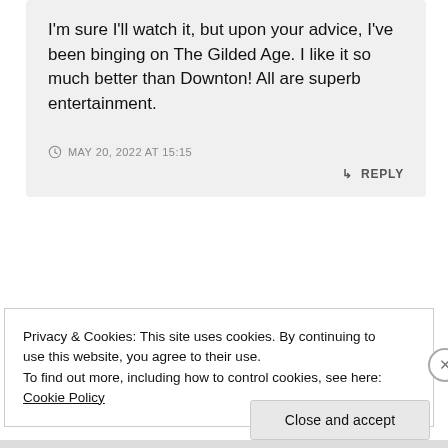I'm sure I'll watch it, but upon your advice, I've been binging on The Gilded Age. I like it so much better than Downton! All are superb entertainment.
MAY 20, 2022 AT 15:15
↳ REPLY
Privacy & Cookies: This site uses cookies. By continuing to use this website, you agree to their use. To find out more, including how to control cookies, see here: Cookie Policy
Close and accept